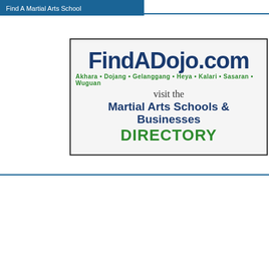Find A Martial Arts School
[Figure (illustration): FindADojo.com advertisement box. Large dark blue bold text 'FindADojo.com', green text 'Akhara • Dojang • Gelanggang • Heya • Kalari • Sasaran • Wuguan', then 'visit the' in gray, 'Martial Arts Schools & Businesses' in dark blue bold, 'DIRECTORY' in large green bold.]
Martial Arts & Action Entertainment Website
[Figure (illustration): USAdojo.com advertisement box. Red bold 'USAdojo.com' followed by 'Presents' in serif, then 'Martial Arts & Action' in italic serif, then 'ENTERTAINMENT' in large red bold, then 'Film • Stunts • Stars • Action' in italic serif.]